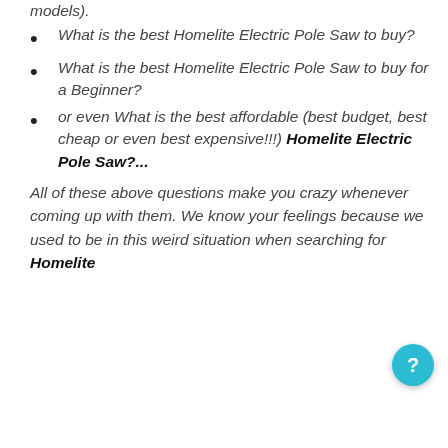What is the best Homelite Electric Pole Saw to buy?
What is the best Homelite Electric Pole Saw to buy for a Beginner?
or even What is the best affordable (best budget, best cheap or even best expensive!!!) Homelite Electric Pole Saw?...
All of these above questions make you crazy whenever coming up with them. We know your feelings because we used to be in this weird situation when searching for Homelite